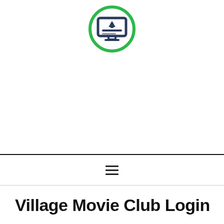[Figure (logo): A green circular icon with a dark monitor/screen symbol inside showing a downward arrow and horizontal lines, representing a download or media screen logo]
[Figure (other): Hamburger menu icon (three horizontal lines) centered in a navigation bar]
Village Movie Club Login